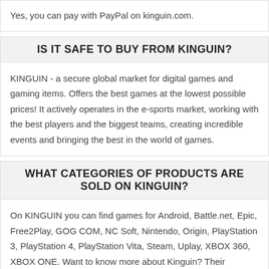Yes, you can pay with PayPal on kinguin.com.
IS IT SAFE TO BUY FROM KINGUIN?
KINGUIN - a secure global market for digital games and gaming items. Offers the best games at the lowest possible prices! It actively operates in the e-sports market, working with the best players and the biggest teams, creating incredible events and bringing the best in the world of games.
WHAT CATEGORIES OF PRODUCTS ARE SOLD ON KINGUIN?
On KINGUIN you can find games for Android, Battle.net, Epic, Free2Play, GOG COM, NC Soft, Nintendo, Origin, PlayStation 3, PlayStation 4, PlayStation Vita, Steam, Uplay, XBOX 360, XBOX ONE. Want to know more about Kinguin? Their information page is probably a good place to start.